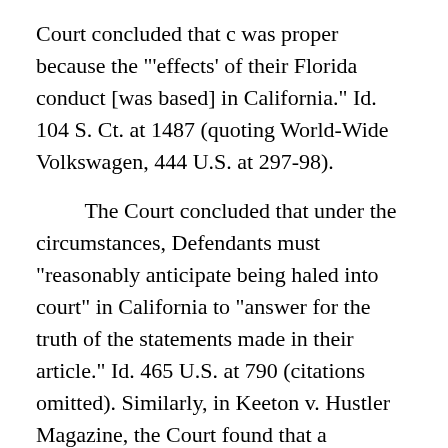Court concluded that c was proper because the "'effects' of their Florida conduct [was based] in California." Id. 104 S. Ct. at 1487 (quoting World-Wide Volkswagen, 444 U.S. at 297-98).
The Court concluded that under the circumstances, Defendants must "reasonably anticipate being haled into court" in California to "answer for the truth of the statements made in their article." Id. 465 U.S. at 790 (citations omitted). Similarly, in Keeton v. Hustler Magazine, the Court found that a publisher's regular circulation of its magazine in New